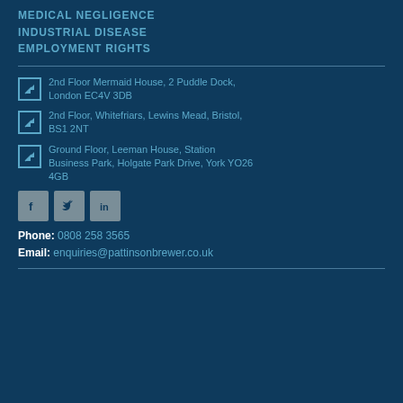MEDICAL NEGLIGENCE
INDUSTRIAL DISEASE
EMPLOYMENT RIGHTS
2nd Floor Mermaid House, 2 Puddle Dock, London EC4V 3DB
2nd Floor, Whitefriars, Lewins Mead, Bristol, BS1 2NT
Ground Floor, Leeman House, Station Business Park, Holgate Park Drive, York YO26 4GB
[Figure (infographic): Social media icons: Facebook, Twitter, LinkedIn]
Phone: 0808 258 3565
Email: enquiries@pattinsonbrewer.co.uk